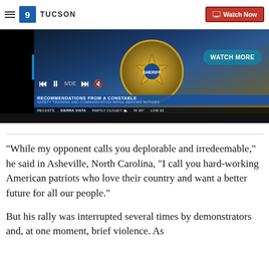9 KSOL TUCSON | Watch Now
[Figure (screenshot): Video player showing a news broadcast with sheriff badge imagery, video controls (skip back, pause, skip forward, mute), a 'WATCH MORE' button, lower chyron reading 'RECOMMENDATIONS FROM A CONSTABLE / SAFETY TRAINING AND COMMUNICATION WHILE SERVING NOTICES', and weather ticker showing 'SIERRA VISTA PARTLY CLOUDY HI 90° LOW 63']
"While my opponent calls you deplorable and irredeemable," he said in Asheville, North Carolina, "I call you hard-working American patriots who love their country and want a better future for all our people."
But his rally was interrupted several times by demonstrators and, at one moment, brief violence. As